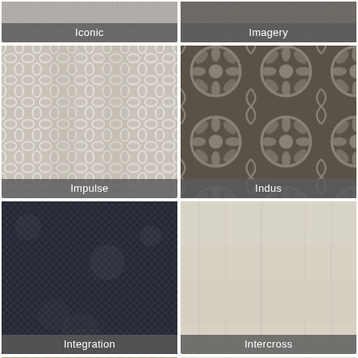[Figure (photo): Fabric swatch labeled Iconic - partially visible at top]
[Figure (photo): Fabric swatch labeled Imagery - partially visible at top]
[Figure (photo): Fabric swatch labeled Impulse - light geometric trellis pattern]
[Figure (photo): Fabric swatch labeled Indus - dark ornate damask pattern]
[Figure (photo): Fabric swatch labeled Integration - dark navy/black textured weave]
[Figure (photo): Fabric swatch labeled Intercross - beige/cream subtle texture]
[Figure (photo): Fabric swatch - bottom partial, tan/beige woven texture]
[Figure (photo): Fabric swatch - bottom partial, cream/ivory smooth texture]